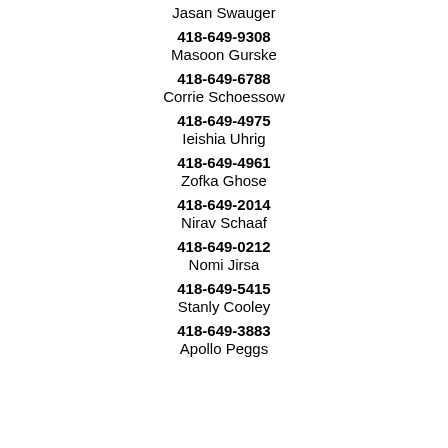Jasan Swauger
418-649-9308
Masoon Gurske
418-649-6788
Corrie Schoessow
418-649-4975
Ieishia Uhrig
418-649-4961
Zofka Ghose
418-649-2014
Nirav Schaaf
418-649-0212
Nomi Jirsa
418-649-5415
Stanly Cooley
418-649-3883
Apollo Peggs